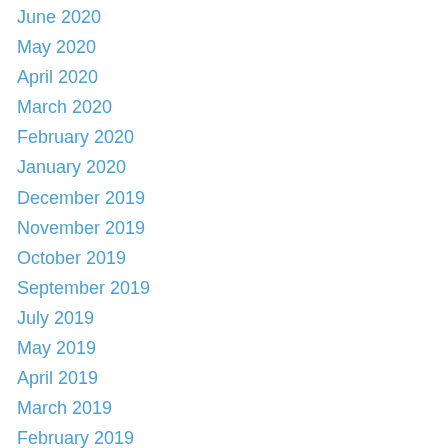June 2020
May 2020
April 2020
March 2020
February 2020
January 2020
December 2019
November 2019
October 2019
September 2019
July 2019
May 2019
April 2019
March 2019
February 2019
January 2019
December 2018
November 2018
October 2018
September 2018